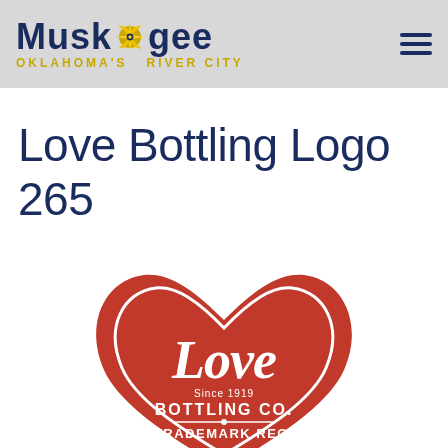MUSKOGEE — OKLAHOMA'S RIVER CITY
Love Bottling Logo 265
[Figure (logo): Love Bottling Co. logo: red heart shape containing white script 'Love', 'Since 1919', 'BOTTLING CO.', 'TRADEMARK REG.' text, with decorative ribbon banner at bottom]